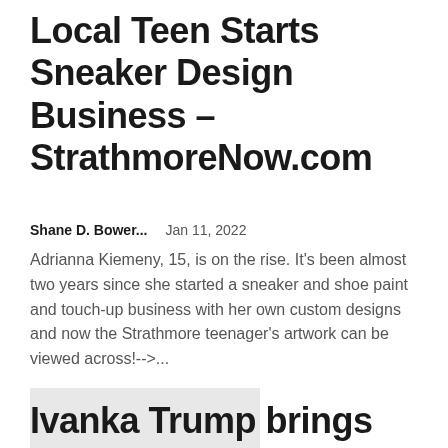Local Teen Starts Sneaker Design Business – StrathmoreNow.com
Shane D. Bower...    Jan 11, 2022
Adrianna Kiemeny, 15, is on the rise. It's been almost two years since she started a sneaker and shoe paint and touch-up business with her own custom designs and now the Strathmore teenager's artwork can be viewed across!-->...
[Figure (photo): Gray placeholder image block]
Ivanka Trump brings party...